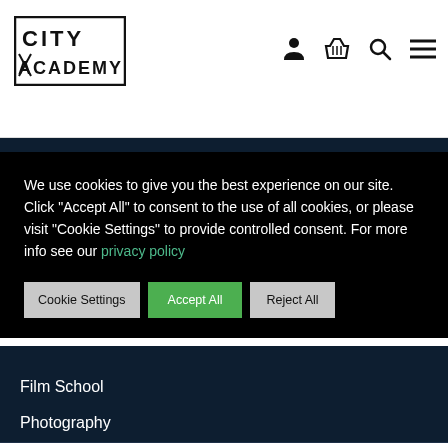CITY ACADEMY — navigation header with logo and icons
We use cookies to give you the best experience on our site. Click "Accept All" to consent to the use of all cookies, or please visit "Cookie Settings" to provide controlled consent. For more info see our privacy policy
Cookie Settings
Accept All
Reject All
Film School
Photography